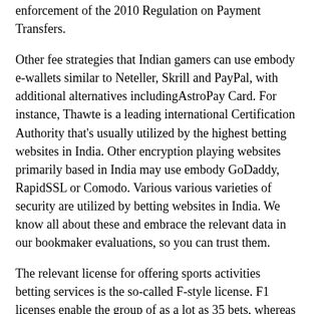enforcement of the 2010 Regulation on Payment Transfers.
Other fee strategies that Indian gamers can use embody e-wallets similar to Neteller, Skrill and PayPal, with additional alternatives includingAstroPay Card. For instance, Thawte is a leading international Certification Authority that's usually utilized by the highest betting websites in India. Other encryption playing websites primarily based in India may use embody GoDaddy, RapidSSL or Comodo. Various various varieties of security are utilized by betting websites in India. We know all about these and embrace the relevant data in our bookmaker evaluations, so you can trust them.
The relevant license for offering sports activities betting services is the so-called F-style license. F1 licenses enable the group of as a lot as 35 bets, whereas to accept wagers, operators should purchase an F2 license. According to the country's authorized framework, to have the ability to accept online sports activities bets, operators want to acquire an F1+ license.
All of this offers the positioning a very streamlined feel, making it very visually pleasing. Not only does Sportsbet.io's web site look superb, however it additionally carried out well when put to the check. It's gentle, swift and easy to navigate, as everything is in plain sight. Sportsbet.io is our choose for the best Bangladesh online betting site because of the complete form. One of the